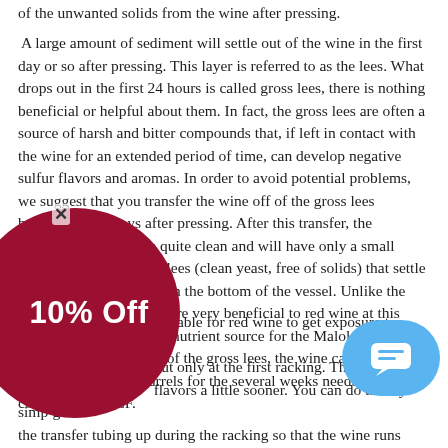of the unwanted solids from the wine after pressing.
A large amount of sediment will settle out of the wine in the first day or so after pressing. This layer is referred to as the lees. What drops out in the first 24 hours is called gross lees, there is nothing beneficial or helpful about them. In fact, the gross lees are often a source of harsh and bitter compounds that, if left in contact with the wine for an extended period of time, can develop negative sulfur flavors and aromas. In order to avoid potential problems, we suggest that you transfer the wine off of the gross lees between 1 to 2 days after pressing. After this transfer, the resulting wine is often quite clean and will have only a small quantity of light or fine lees (clean yeast, free of solids) that settle out to form a thin layer on the bottom of the vessel. Unlike the gross lees, the light lees are very beneficial to red wine at this stage and will serve as a nutrient source for the Malolactic Fermentation. Once off of the gross lees, the wine can safely work in a carboy, tank or barrels for the several weeks needed to complete the MLF.
sirable for red wine to get exposure to oxyge   er, but only at the first racking. This serves t   flavors a little sooner. You can do this by simp   g the transfer tubing up during the racking so that the wine runs
[Figure (other): Red circular advertisement overlay showing '10% Off' text with a close (X) button, and a blue chat bubble icon in the bottom right corner.]